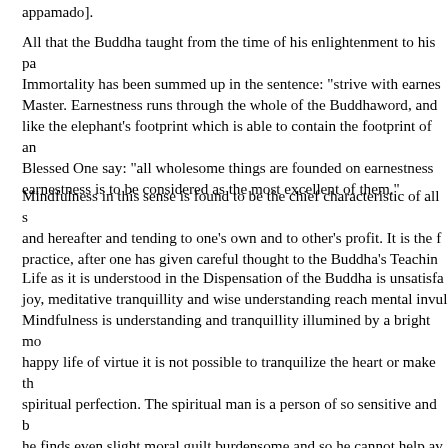appamado].
All that the Buddha taught from the time of his enlightenment to his pa... Immortality has been summed up in the sentence: "strive with earnestness" Master. Earnestness runs through the whole of the Buddhaword, and like the elephant's footprint which is able to contain the footprint of an... Blessed One say: "all wholesome things are founded on earnestness... earnestness is to be considered as the most excellent of them."
Mindfulness in this sense is found to be the chief characteristic of all s... and hereafter and tending to one's own and to other's profit. It is the f... practice, after one has given careful thought to the Buddha's Teaching...
Life as it is understood in the Dispensation of the Buddha is unsatisfa... joy, meditative tranquillity and wise understanding reach mental invul... Mindfulness is understanding and tranquillity illumined by a bright mo... happy life of virtue it is not possible to tranquilize the heart or make th... spiritual perfection. The spiritual man is a person of so sensitive and b... he finds even slight moral guilt burdensome and so he cannot help av... adherence to virtue. Otherwise owing to remorse at his backslidings a... will not find the right inner environment and climate for developing the... produce the power of perfect equanimity necessary for changing over... The cheerful joyous atmosphere which virtue gives is more necessary... anything else to keep him spiritually alive.